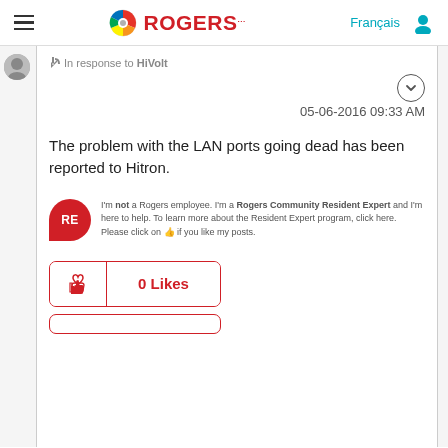[Figure (logo): Rogers logo with colorful circular icon and red ROGERS text]
In response to HiVolt
05-06-2016 09:33 AM
The problem with the LAN ports going dead has been reported to Hitron.
[Figure (illustration): Rogers Community Resident Expert (RE) red badge icon with disclaimer text]
I'm not a Rogers employee. I'm a Rogers Community Resident Expert and I'm here to help. To learn more about the Resident Expert program, click here. Please click on 👍 if you like my posts.
0 Likes